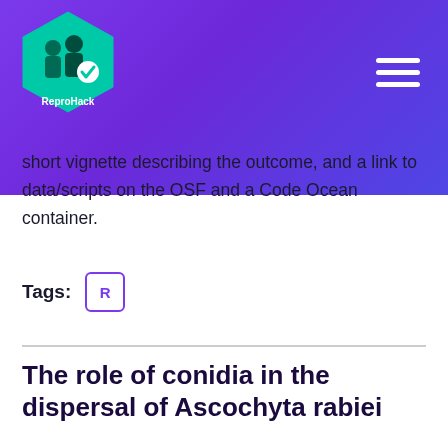[Figure (logo): ReproHack hexagonal logo with teal/green background showing figures and a checkmark, white text 'ReproHack']
short vignette describing the outcome, and a link to data/scripts on the OSF and a Code Ocean container.
Tags: R
The role of conidia in the dispersal of Ascochyta rabiei
Authors: Khalia J, Fanning J, Melloy P et